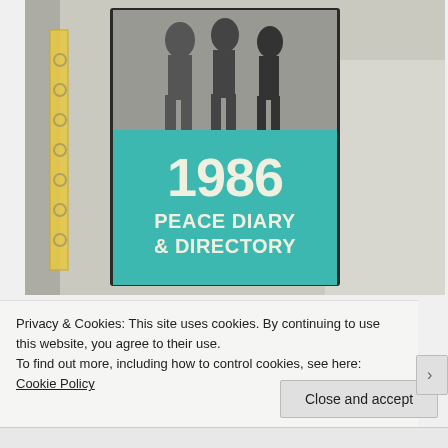[Figure (photo): A photograph of a booklet titled '1986 Peace Diary & Directory'. The cover shows a teal/turquoise banner with the year '1986' in large white text and 'PEACE DIARY & DIRECTORY' below. The upper portion of the booklet shows a black-and-white photograph of people walking. The booklet is resting on a light surface.]
Privacy & Cookies: This site uses cookies. By continuing to use this website, you agree to their use.
To find out more, including how to control cookies, see here: Cookie Policy
Close and accept